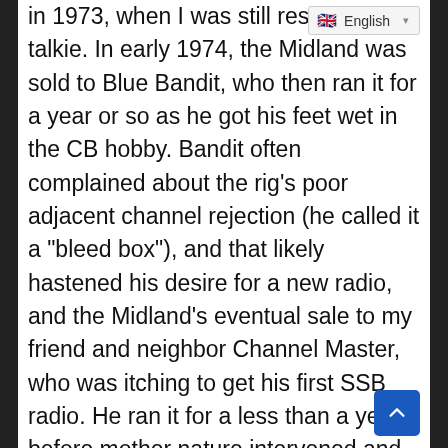in 1973, when I was still res walkie-talkie. In early 1974, the Midland was sold to Blue Bandit, who then ran it for a year or so as he got his feet wet in the CB hobby. Bandit often complained about the rig’s poor adjacent channel rejection (he called it a “bleed box”), and that likely hastened his desire for a new radio, and the Midland’s eventual sale to my friend and neighbor Channel Master, who was itching to get his first SSB radio. He ran it for a less than a year, before mother nature intervened and sent a bolt of lightning down his antenna and feedline. Unable to get the rig running again, he traded it to me for a SSB mobile radio that I had recently picked up. Once in my hands, I managed to get the rig running again by replacing defective audio